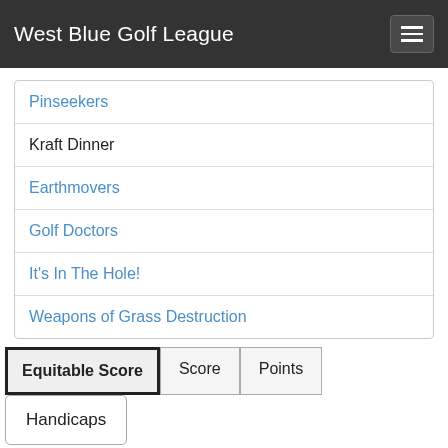West Blue Golf League
Pinseekers
Kraft Dinner
Earthmovers
Golf Doctors
It's In The Hole!
Weapons of Grass Destruction
Equitable Score | Score | Points
Handicaps
Kraft Dinner (Equitable Score)